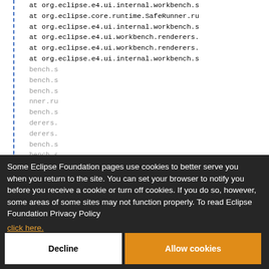Stack trace lines showing at org.eclipse.e4.ui.internal.workbench.s, at org.eclipse.core.runtime.SafeRunner.ru, at org.eclipse.e4.ui.internal.workbench.s, at org.eclipse.e4.ui.workbench.renderers., at org.eclipse.e4.ui.workbench.renderers., at org.eclipse.e4.ui.internal.workbench.s
Some Eclipse Foundation pages use cookies to better serve you when you return to the site. You can set your browser to notify you before you receive a cookie or turn off cookies. If you do so, however, some areas of some sites may not function properly. To read Eclipse Foundation Privacy Policy click here.
Decline
Allow cookies